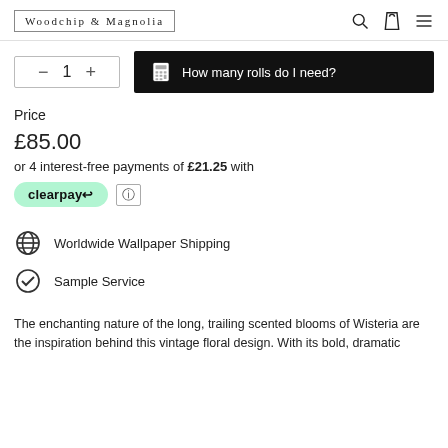Woodchip & Magnolia
- 1 +
How many rolls do I need?
Price
£85.00
or 4 interest-free payments of £21.25 with
clearpay
Worldwide Wallpaper Shipping
Sample Service
The enchanting nature of the long, trailing scented blooms of Wisteria are the inspiration behind this vintage floral design. With its bold, dramatic